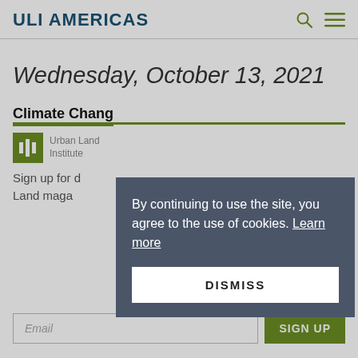ULI AMERICAS
Wednesday, October 13, 2021
Climate Chang
[Figure (logo): Urban Land Institute ULI green logo with text]
Sign up for d... Land maga...
By continuing to use the site, you agree to the use of cookies. Learn more
DISMISS
Email
SIGN UP